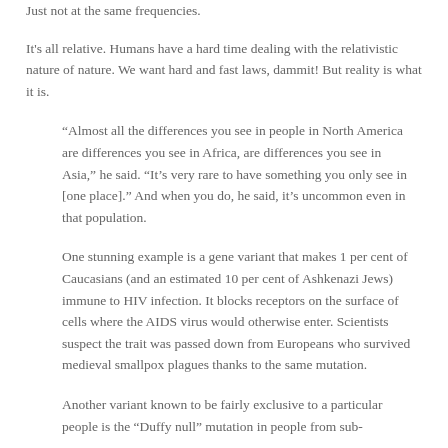Just not at the same frequencies.
It's all relative. Humans have a hard time dealing with the relativistic nature of nature. We want hard and fast laws, dammit! But reality is what it is.
“Almost all the differences you see in people in North America are differences you see in Africa, are differences you see in Asia,” he said. “It’s very rare to have something you only see in [one place].” And when you do, he said, it’s uncommon even in that population.
One stunning example is a gene variant that makes 1 per cent of Caucasians (and an estimated 10 per cent of Ashkenazi Jews) immune to HIV infection. It blocks receptors on the surface of cells where the AIDS virus would otherwise enter. Scientists suspect the trait was passed down from Europeans who survived medieval smallpox plagues thanks to the same mutation.
Another variant known to be fairly exclusive to a particular people is the “Duffy null” mutation in people from sub-